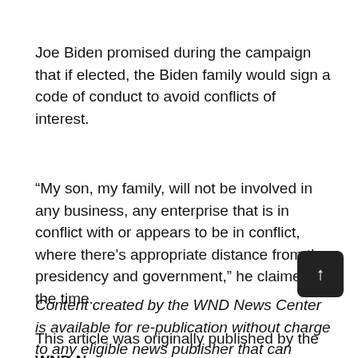Joe Biden promised during the campaign that if elected, the Biden family would sign a code of conduct to avoid conflicts of interest.
“My son, my family, will not be involved in any business, any enterprise that is in conflict with or appears to be in conflict, where there’s appropriate distance from the presidency and government,” he claimed at the time.
Content created by the WND News Center is available for re-publication without charge to any eligible news publisher that can provide a large audience. For licensing opportunities of our original content, please contact licensing@wndnewscenter.org.
This article was originally published by the WND News